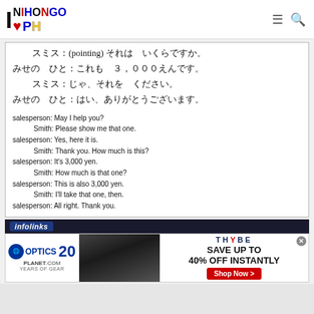I NIHONGO PH — website header with logo
スミス：(pointing) それは　いくらですか。
みせの　ひと：これも　３，０００えんです。
スミス：じゃ、それを　ください。
みせの　ひと：はい、ありがとうございます。
salesperson: May I help you?
Smith: Please show me that one.
salesperson: Yes, here it is.
Smith: Thank you. How much is this?
salesperson: It's 3,000 yen.
Smith: How much is that one?
salesperson: This is also 3,000 yen.
Smith: I'll take that one, then.
salesperson: All right. Thank you.
[Figure (screenshot): Infolinks advertisement banner with Optics Planet 20 years and THYBE save up to 40% off instantly with Shop Now button]